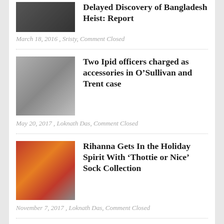Delayed Discovery of Bangladesh Heist: Report
March 18, 2016 , Sristy, Comment Closed
Two Ipid officers charged as accessories in O’Sullivan and Trent case
May 20, 2017 , Loknath Das, Comment Closed
Rihanna Gets In the Holiday Spirit With ‘Thottie or Nice’ Sock Collection
November 7, 2017 , Loknath Das, Comment Closed
Apple Tops JD Power Wi-Fi Router Satisfaction Report Shortly After Reportedly Axing AirPort Division